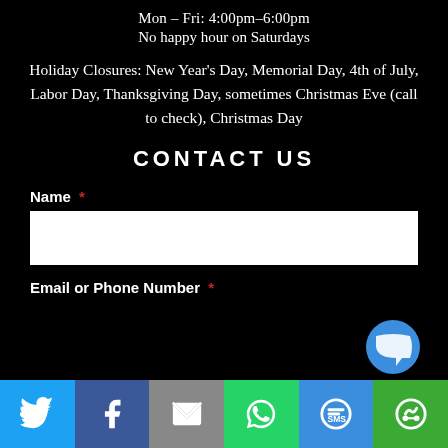Mon – Fri: 4:00pm–6:00pm
No happy hour on Saturdays
Holiday Closures: New Year's Day, Memorial Day, 4th of July, Labor Day, Thanksgiving Day, sometimes Christmas Eve (call to check), Christmas Day
CONTACT US
Name *
Email or Phone Number *
[Figure (infographic): Social share bar with Twitter, Facebook, Email, WhatsApp, SMS, and More buttons]